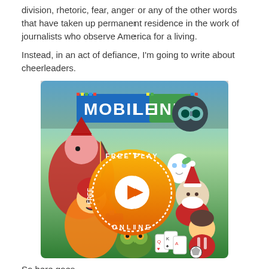division, rhetoric, fear, anger or any of the other words that have taken up permanent residence in the work of journalists who observe America for a living.
Instead, in an act of defiance, I'm going to write about cheerleaders.
[Figure (illustration): Mobile Ini advertisement banner with cartoon game characters, 'FREE PLAY ONLINE' orange circle badge with play button, and 'MOBILE INI' logo at top]
So here goes.
I find the basic concept of professional cheerleading profoundly